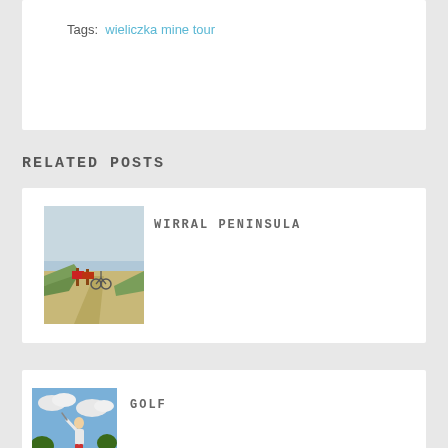Tags:  wieliczka mine tour
RELATED POSTS
[Figure (photo): Wirral Peninsula beach scene with sandy beach, grass dunes, and bicycles/signs in foreground under a light sky]
WIRRAL PENINSULA
[Figure (photo): Golfer mid-swing on a green golf course with blue sky and clouds in background]
GOLF